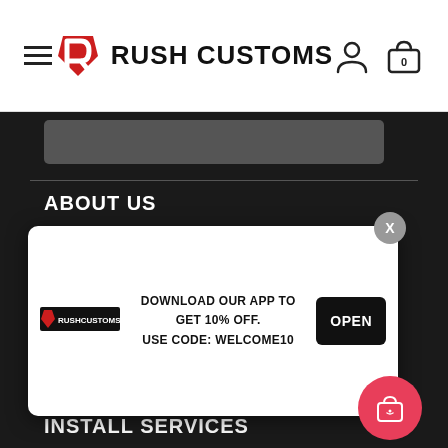Rush Customs — navigation header with menu, logo, account and cart icons
ABOUT US
Privacy Policy
Refund Policy
Terms of Service
Contact Us
PRICE MATCH POLICY
[Figure (screenshot): App download popup: Rush Customs logo, text 'DOWNLOAD OUR APP TO GET 10% OFF. USE CODE: WELCOME10', OPEN button, X close button]
INSTALL SERVICES